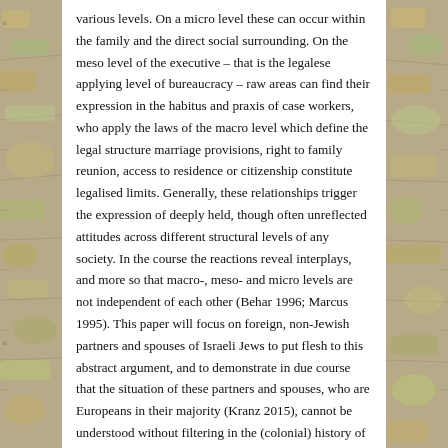various levels. On a micro level these can occur within the family and the direct social surrounding. On the meso level of the executive – that is the legalese applying level of bureaucracy – raw areas can find their expression in the habitus and praxis of case workers, who apply the laws of the macro level which define the legal structure marriage provisions, right to family reunion, access to residence or citizenship constitute legalised limits. Generally, these relationships trigger the expression of deeply held, though often unreflected attitudes across different structural levels of any society. In the course the reactions reveal interplays, and more so that macro-, meso- and micro levels are not independent of each other (Behar 1996; Marcus 1995). This paper will focus on foreign, non-Jewish partners and spouses of Israeli Jews to put flesh to this abstract argument, and to demonstrate in due course that the situation of these partners and spouses, who are Europeans in their majority (Kranz 2015), cannot be understood without filtering in the (colonial) history of Israel, Jewish (diaporic) history and the present situation of the Jewish diaspora as well as the